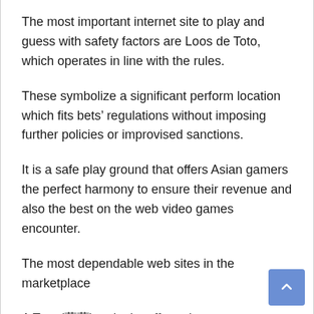The most important internet site to play and guess with safety factors are Loos de Toto, which operates in line with the rules.
These symbolize a significant perform location which fits bets’ regulations without imposing further policies or improvised sanctions.
It is a safe play ground that offers Asian gamers the perfect harmony to ensure their revenue and also the best on the web video games encounter.
The most dependable web sites in the marketplace
A Toto (藜藜) web site offers players access to the most trusted wagers available on the market. In